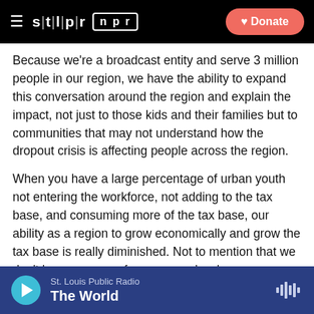STLPR | NPR — Donate
Because we're a broadcast entity and serve 3 million people in our region, we have the ability to expand this conversation around the region and explain the impact, not just to those kids and their families but to communities that may not understand how the dropout crisis is affecting people across the region.
When you have a large percentage of urban youth not entering the workforce, not adding to the tax base, and consuming more of the tax base, our ability as a region to grow economically and grow the tax base is really diminished. Not to mention that we don't have a group of young people who are participating in growing our
St. Louis Public Radio — The World